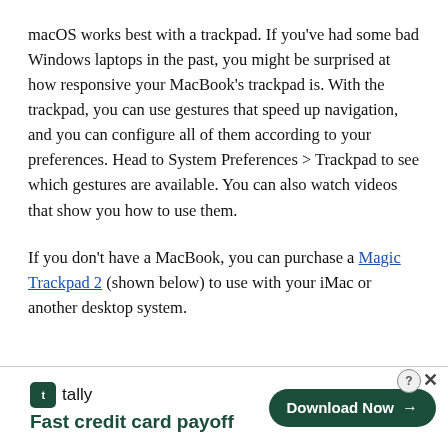macOS works best with a trackpad. If you've had some bad Windows laptops in the past, you might be surprised at how responsive your MacBook's trackpad is. With the trackpad, you can use gestures that speed up navigation, and you can configure all of them according to your preferences. Head to System Preferences > Trackpad to see which gestures are available. You can also watch videos that show you how to use them.
If you don't have a MacBook, you can purchase a Magic Trackpad 2 (shown below) to use with your iMac or another desktop system.
[Figure (screenshot): Advertisement banner for Tally app — Fast credit card payoff, with a Download Now button]